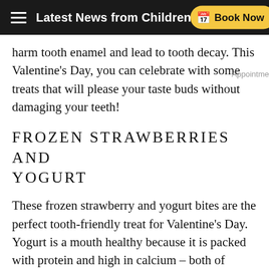Latest News from Children's Dental Specialties
harm tooth enamel and lead to tooth decay. This Valentine's Day, you can celebrate with some treats that will please your taste buds without damaging your teeth!
FROZEN STRAWBERRIES AND YOGURT
These frozen strawberry and yogurt bites are the perfect tooth-friendly treat for Valentine's Day. Yogurt is a mouth healthy because it is packed with protein and high in calcium – both of which help build strong teeth and enamel. It also contains a